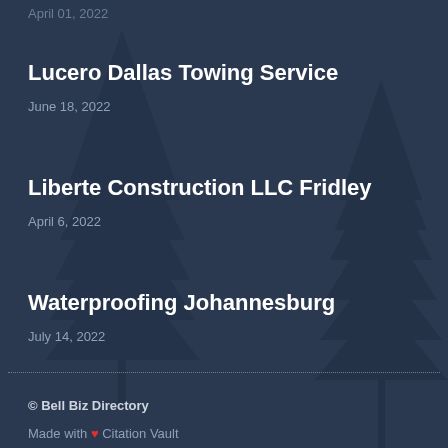April 01, 2022
Lucero Dallas Towing Service
June 18, 2022
Liberte Construction LLC Fridley
April 6, 2022
Waterproofing Johannesburg
July 14, 2022
© Bell Biz Directory
Made with ❤ Citation Vault